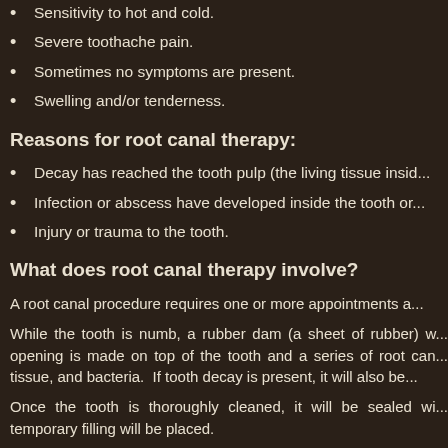Sensitivity to hot and cold.
Severe toothache pain.
Sometimes no symptoms are present.
Swelling and/or tenderness.
Reasons for root canal therapy:
Decay has reached the tooth pulp (the living tissue insi...
Infection or abscess have developed inside the tooth or...
Injury or trauma to the tooth.
What does root canal therapy involve?
A root canal procedure requires one or more appointments a...
While the tooth is numb, a rubber dam (a sheet of rubber) w... opening is made on top of the tooth and a series of root can... tissue, and bacteria. If tooth decay is present, it will also be...
Once the tooth is thoroughly cleaned, it will be sealed wi... temporary filling will be placed.